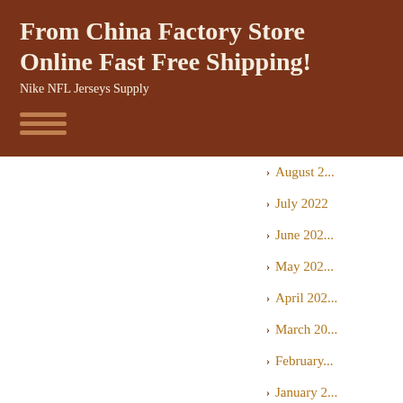From China Factory Store Online Fast Free Shipping!
Nike NFL Jerseys Supply
August 2022
July 2022
June 2022
May 2022
April 2022
March 2022
February 2022
January 2022
December
November